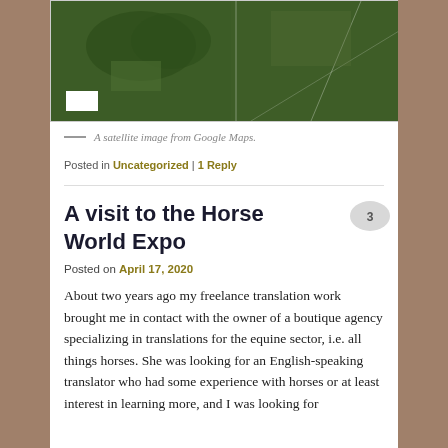[Figure (photo): A satellite image from Google Maps showing agricultural fields and scattered trees from aerial view, with a white box in the lower left corner]
— A satellite image from Google Maps.
Posted in Uncategorized | 1 Reply
A visit to the Horse World Expo
Posted on April 17, 2020
About two years ago my freelance translation work brought me in contact with the owner of a boutique agency specializing in translations for the equine sector, i.e. all things horses. She was looking for an English-speaking translator who had some experience with horses or at least interest in learning more, and I was looking for